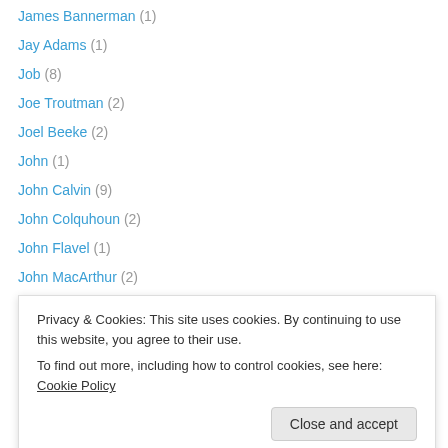James Bannerman (1)
Jay Adams (1)
Job (8)
Joe Troutman (2)
Joel Beeke (2)
John (1)
John Calvin (9)
John Colquhoun (2)
John Flavel (1)
John MacArthur (2)
John Murray (1)
John Owen (1)
John R. Muether (1)
Privacy & Cookies: This site uses cookies. By continuing to use this website, you agree to their use. To find out more, including how to control cookies, see here: Cookie Policy
Kenneth Gentry (1)